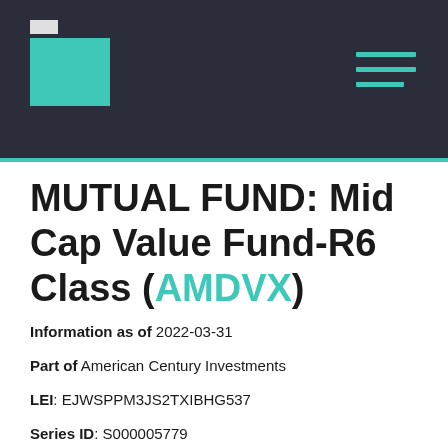[Figure (logo): Dark navy header bar with teal folder/logo icon on the left and teal hamburger menu icon on the right, with a teal accent line along the bottom]
MUTUAL FUND: Mid Cap Value Fund-R6 Class (AMDVX)
Information as of 2022-03-31
Part of American Century Investments
LEI: EJWSPPM3JS2TXIBHG537
Series ID: S000005779
8165315575